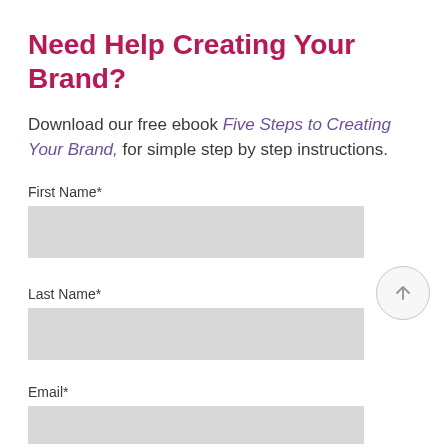Need Help Creating Your Brand?
Download our free ebook Five Steps to Creating Your Brand, for simple step by step instructions.
First Name*
Last Name*
Email*